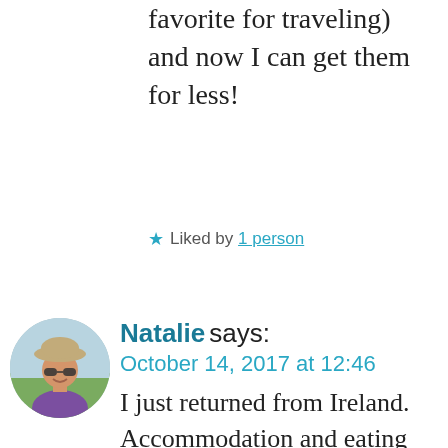favorite for traveling) and now I can get them for less!
★ Liked by 1 person
[Figure (photo): Circular avatar photo of Natalie, a woman wearing a hat and sunglasses, smiling outdoors]
Natalie says: October 14, 2017 at 12:46
I just returned from Ireland. Accommodation and eating out are expensive there, at least twice more expensive than...